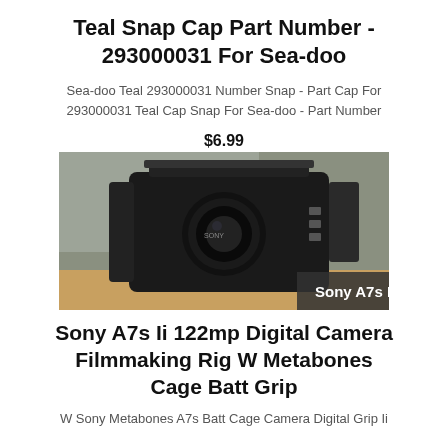Teal Snap Cap Part Number - 293000031 For Sea-doo
Sea-doo Teal 293000031 Number Snap - Part Cap For 293000031 Teal Cap Snap For Sea-doo - Part Number
$6.99
[Figure (photo): Sony A7s II camera body in a filmmaking cage/rig with battery grip on a wooden surface, with overlay label 'Sony A7s Ii']
Sony A7s Ii 122mp Digital Camera Filmmaking Rig W Metabones Cage Batt Grip
W Sony Metabones A7s Batt Cage Camera Digital Grip Ii